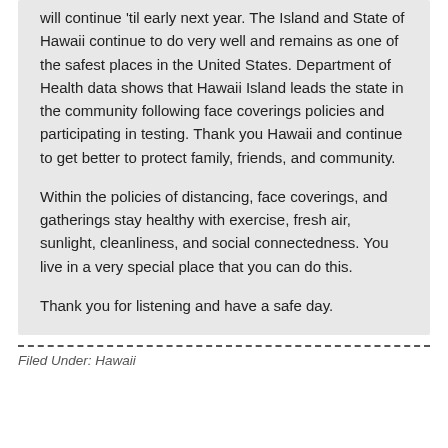will continue 'til early next year. The Island and State of Hawaii continue to do very well and remains as one of the safest places in the United States. Department of Health data shows that Hawaii Island leads the state in the community following face coverings policies and participating in testing. Thank you Hawaii and continue to get better to protect family, friends, and community.
Within the policies of distancing, face coverings, and gatherings stay healthy with exercise, fresh air, sunlight, cleanliness, and social connectedness. You live in a very special place that you can do this.
Thank you for listening and have a safe day.
Filed Under: Hawaii